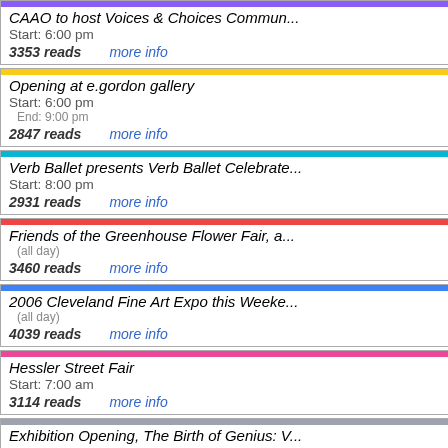CAAO to host Voices & Choices Commun...
Start: 6:00 pm
3353 reads   more info
Opening at e.gordon gallery
Start: 6:00 pm
End: 9:00 pm
2847 reads   more info
Verb Ballet presents Verb Ballet Celebrate...
Start: 8:00 pm
2931 reads   more info
Friends of the Greenhouse Flower Fair, a...
(all day)
3460 reads   more info
2006 Cleveland Fine Art Expo this Weeke...
(all day)
4039 reads   more info
Hessler Street Fair
Start: 7:00 am
3114 reads   more info
Exhibition Opening, The Birth of Genius: V...
Start: 9:00 am
End: 5:00 pm
3305 reads   more info
RiverDay 2006 Events - May 20th...